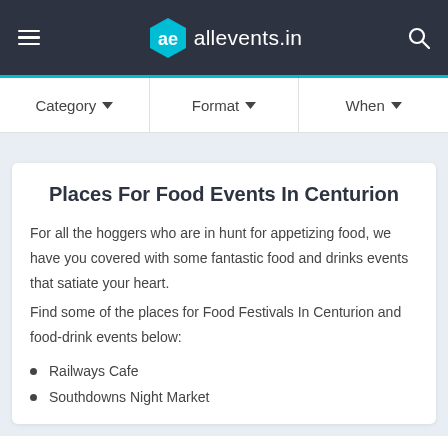allevents.in
Category ▾   Format ▾   When ▾
Places For Food Events In Centurion
For all the hoggers who are in hunt for appetizing food, we have you covered with some fantastic food and drinks events that satiate your heart.
Find some of the places for Food Festivals In Centurion and food-drink events below:
Railways Cafe
Southdowns Night Market